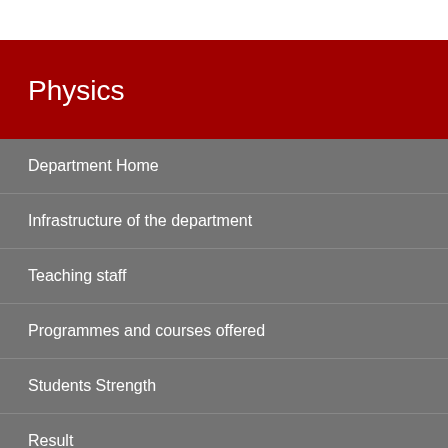Physics
Department Home
Infrastructure of the department
Teaching staff
Programmes and courses offered
Students Strength
Result
Student progression
Research Papers